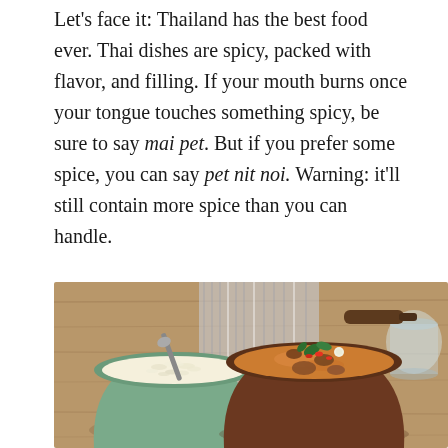Let's face it: Thailand has the best food ever. Thai dishes are spicy, packed with flavor, and filling. If your mouth burns once your tongue touches something spicy, be sure to say mai pet. But if you prefer some spice, you can say pet nit noi. Warning: it'll still contain more spice than you can handle.
One place you need to visit on the island? Mama Pooh's Kitchen. They make the best panang curry. I still find myself dreaming about it!
[Figure (photo): A food photo showing a bowl of white rice with a spoon on the left and a dark pan with panang curry topped with red chili slices, basil leaves, and other garnishes on the right, placed on a wooden surface with a striped cloth.]